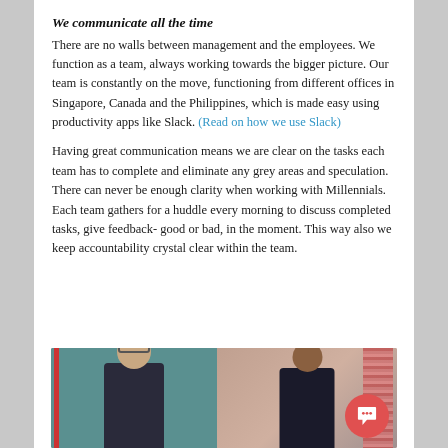We communicate all the time
There are no walls between management and the employees. We function as a team, always working towards the bigger picture. Our team is constantly on the move, functioning from different offices in Singapore, Canada and the Philippines, which is made easy using productivity apps like Slack. (Read on how we use Slack)
Having great communication means we are clear on the tasks each team has to complete and eliminate any grey areas and speculation. There can never be enough clarity when working with Millennials. Each team gathers for a huddle every morning to discuss completed tasks, give feedback- good or bad, in the moment. This way also we keep accountability crystal clear within the team.
[Figure (photo): Video call screenshot showing two people in split-screen view — a man with glasses on the left against a teal background, and a woman on the right with curtains visible in the background. A red chat/support button overlay appears in the bottom-right corner.]